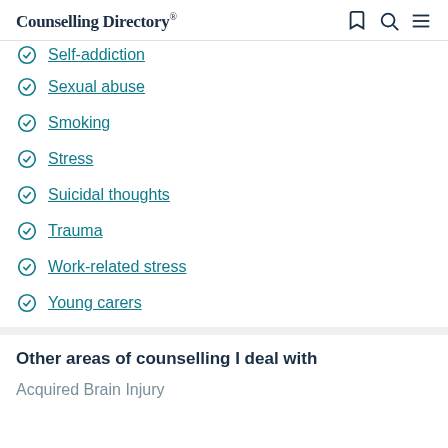Counselling Directory®
Self-addiction
Sexual abuse
Smoking
Stress
Suicidal thoughts
Trauma
Work-related stress
Young carers
Other areas of counselling I deal with
Acquired Brain Injury